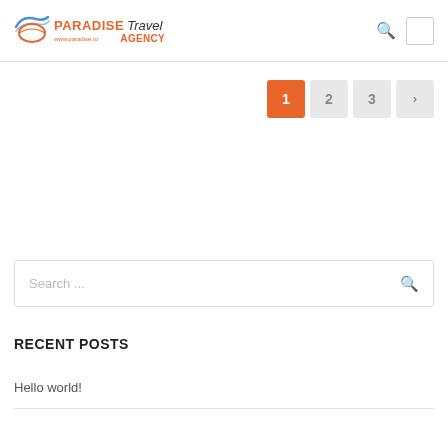PARADISE Travel AGENCY www.paradise.ro
[Figure (screenshot): Pagination widget showing pages 1 (active, orange), 2, 3, and a next arrow button]
[Figure (screenshot): Search input field with placeholder text 'Search ...' and a search icon on the right]
RECENT POSTS
Hello world!